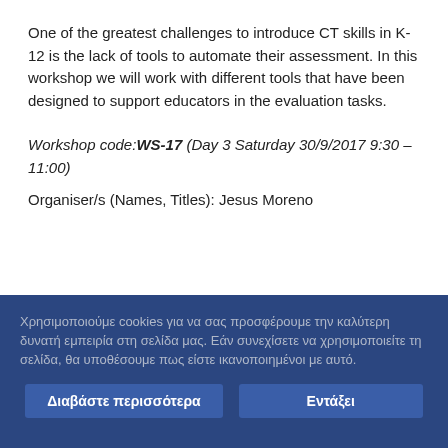One of the greatest challenges to introduce CT skills in K-12 is the lack of tools to automate their assessment. In this workshop we will work with different tools that have been designed to support educators in the evaluation tasks.
Workshop code: WS-17 (Day 3 Saturday 30/9/2017 9:30 – 11:00)
Organiser/s (Names, Titles): Jesus Moreno
Χρησιμοποιούμε cookies για να σας προσφέρουμε την καλύτερη δυνατή εμπειρία στη σελίδα μας. Εάν συνεχίσετε να χρησιμοποιείτε τη σελίδα, θα υποθέσουμε πως είστε ικανοποιημένοι με αυτό.
Διαβάστε περισσότερα
Εντάξει